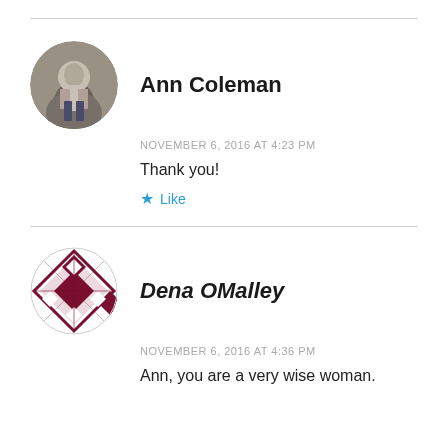[Figure (photo): Circular avatar photo of Ann Coleman, a person standing outdoors against a stone or concrete background, wearing a light jacket and jeans.]
Ann Coleman
NOVEMBER 6, 2016 AT 4:23 PM
Thank you!
Like
[Figure (illustration): Circular avatar icon for Dena OMalley, a geometric/quilted diamond pattern in dark red/maroon on white background.]
Dena OMalley
NOVEMBER 6, 2016 AT 4:36 PM
Ann, you are a very wise woman.